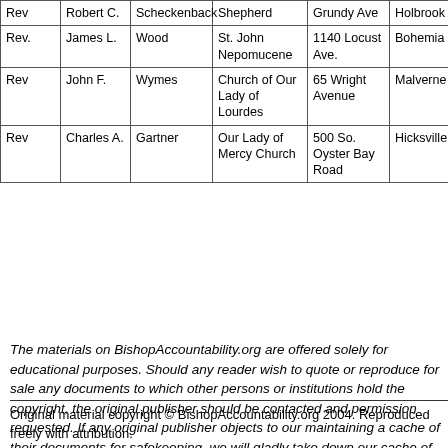|  |  |  |  |  |  |  |
| --- | --- | --- | --- | --- | --- | --- |
| Rev | Robert C. | Scheckenback | Shepherd | Grundy Ave | Holbrook | NY |
| Rev. | James L. | Wood | St. John Nepomucene | 1140 Locust Ave. | Bohemia | NY |
| Rev | John F. | Wymes | Church of Our Lady of Lourdes | 65 Wright Avenue | Malverne | NY |
| Rev | Charles A. | Gartner | Our Lady of Mercy Church | 500 So. Oyster Bay Road | Hicksville | NY |
The materials on BishopAccountability.org are offered solely for educational purposes. Should any reader wish to quote or reproduce for sale any documents to which other persons or institutions hold the copyright, the original publisher should be contacted and permission requested. If any original publisher objects to our maintaining a cache of their documents for safekeeping, we will gladly take down our cache of those documents and offer links to the original publisher's posted versions instead.
Original material copyright © BishopAccountability.org 2004. Reproduced freely with attribution.